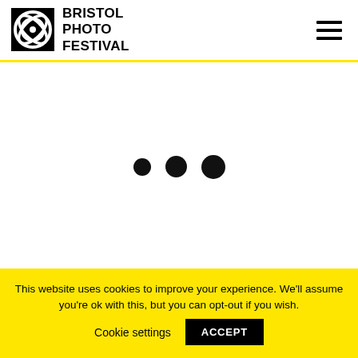[Figure (logo): Bristol Photo Festival logo: circular eye/lens icon in black square, with text BRISTOL PHOTO FESTIVAL in bold uppercase]
[Figure (other): Hamburger menu icon (three horizontal black lines) in the top right of the header]
[Figure (other): Loading/carousel indicator: three black dots of slightly increasing size, centered in the main white content area]
This website uses cookies to improve your experience. We'll assume you're ok with this, but you can opt-out if you wish.
Cookie settings
ACCEPT